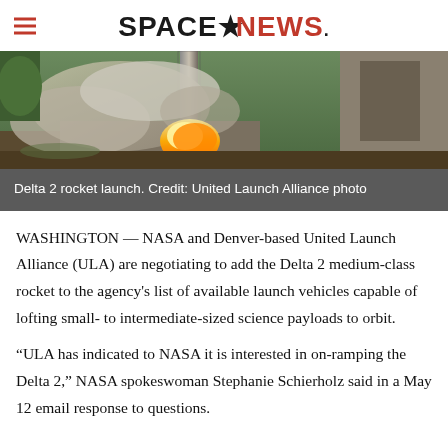SPACENEWS
[Figure (photo): Delta 2 rocket launch with large flame and smoke cloud, outdoor setting]
Delta 2 rocket launch. Credit: United Launch Alliance photo
WASHINGTON — NASA and Denver-based United Launch Alliance (ULA) are negotiating to add the Delta 2 medium-class rocket to the agency's list of available launch vehicles capable of lofting small- to intermediate-sized science payloads to orbit.
“ULA has indicated to NASA it is interested in on-ramping the Delta 2,” NASA spokeswoman Stephanie Schierholz said in a May 12 email response to questions.